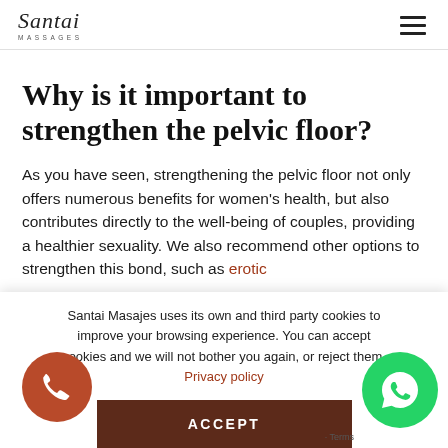Santai Massages
Why is it important to strengthen the pelvic floor?
As you have seen, strengthening the pelvic floor not only offers numerous benefits for women's health, but also contributes directly to the well-being of couples, providing a healthier sexuality. We also recommend other options to strengthen this bond, such as erotic
Santai Masajes uses its own and third party cookies to improve your browsing experience. You can accept cookies and we will not bother you again, or reject them. Privacy policy
ACCEPT